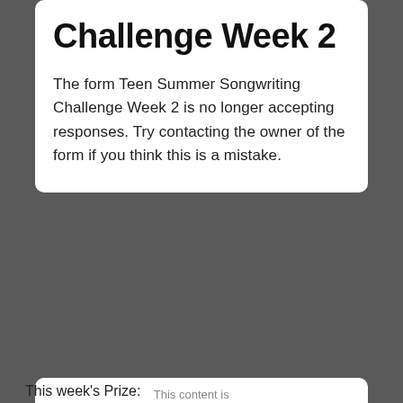Challenge Week 2
The form Teen Summer Songwriting Challenge Week 2 is no longer accepting responses. Try contacting the owner of the form if you think this is a mistake.
Google Forms  This content is neither created nor endorsed by Google.
This week's Prize: